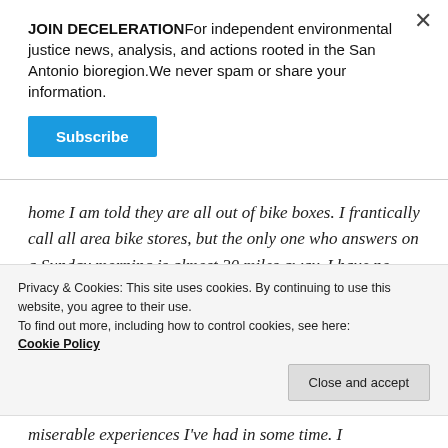JOIN DECELERATIONFor independent environmental justice news, analysis, and actions rooted in the San Antonio bioregion.We never spam or share your information.
Subscribe
home I am told they are all out of bike boxes. I frantically call all area bike stores, but the only one who answers on a Sunday morning is almost 20 miles away. I have no chance of making my bus in 40 minutes. In the end, the friend who I
Privacy & Cookies: This site uses cookies. By continuing to use this website, you agree to their use.
To find out more, including how to control cookies, see here:
Cookie Policy
Close and accept
miserable experiences I've had in some time. I